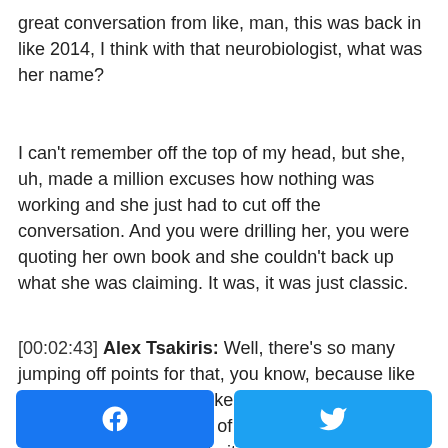great conversation from like, man, this was back in like 2014, I think with that neurobiologist, what was her name?
I can't remember off the top of my head, but she, uh, made a million excuses how nothing was working and she just had to cut off the conversation. And you were drilling her, you were quoting her own book and she couldn't back up what she was claiming. It was, it was just classic.
[00:02:43] Alex Tsakiris: Well, there's so many jumping off points for that, you know, because like one of the things about like that interview and what people have kind of said about skeptical and there is some truth to it because it always happens for all of us, you know, it's like, Hey, the guys on my team, I'm going to kind of treat :
[Figure (other): Two social share buttons side by side: a blue Facebook button with the Facebook 'f' logo, and a blue Twitter button with the Twitter bird logo.]